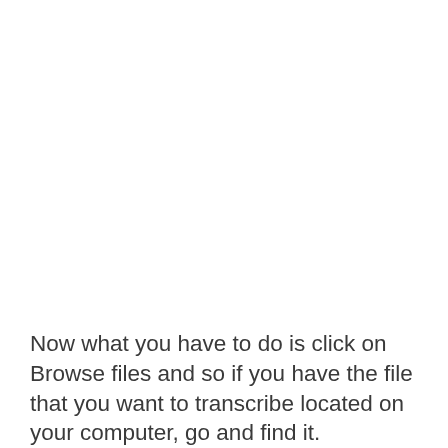Now what you have to do is click on Browse files and so if you have the file that you want to transcribe located on your computer, go and find it.